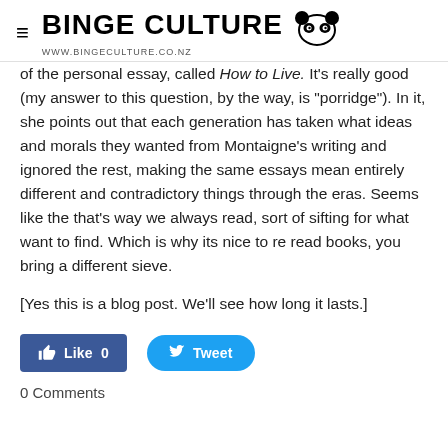BINGE CULTURE www.bingeculture.co.nz
of the personal essay, called How to Live. It's really good (my answer to this question, by the way, is "porridge"). In it, she points out that each generation has taken what ideas and morals they wanted from Montaigne's writing and ignored the rest, making the same essays mean entirely different and contradictory things through the eras. Seems like the that's way we always read, sort of sifting for what want to find. Which is why its nice to re read books, you bring a different sieve.
[Yes this is a blog post. We'll see how long it lasts.]
[Figure (other): Facebook Like button with count 0 and Twitter Tweet button]
0 Comments